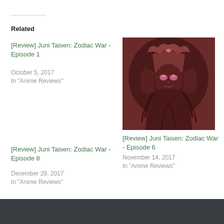Related
[Review] Juni Taisen: Zodiac War - Episode 1
October 5, 2017
In "Anime Reviews"
[Figure (illustration): Anime illustration from Juni Taisen: Zodiac War showing a dark-cloaked character with a horned helmet and reddish-brown color palette]
[Review] Juni Taisen: Zodiac War - Episode 6
November 14, 2017
In "Anime Reviews"
[Review] Juni Taisen: Zodiac War - Episode 8
December 29, 2017
In "Anime Reviews"
DaCrowz